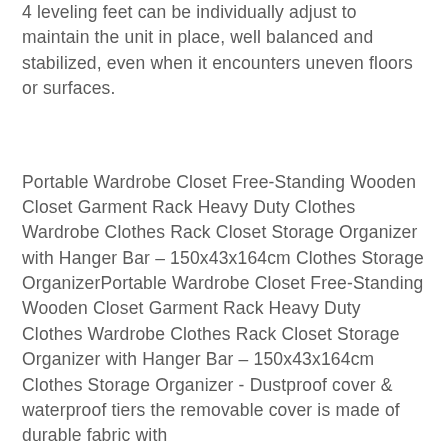4 leveling feet can be individually adjust to maintain the unit in place, well balanced and stabilized, even when it encounters uneven floors or surfaces.
Portable Wardrobe Closet Free-Standing Wooden Closet Garment Rack Heavy Duty Clothes Wardrobe Clothes Rack Closet Storage Organizer with Hanger Bar – 150x43x164cm Clothes Storage OrganizerPortable Wardrobe Closet Free-Standing Wooden Closet Garment Rack Heavy Duty Clothes Wardrobe Clothes Rack Closet Storage Organizer with Hanger Bar – 150x43x164cm Clothes Storage Organizer - Dustproof cover & waterproof tiers the removable cover is made of durable fabric with